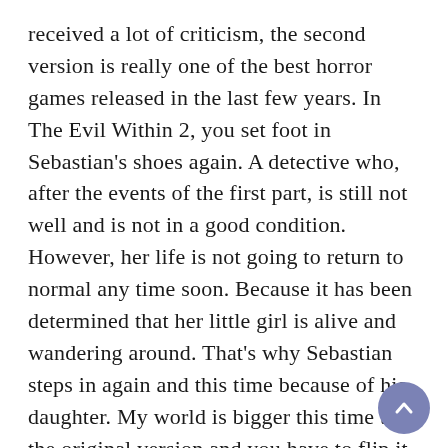received a lot of criticism, the second version is really one of the best horror games released in the last few years. In The Evil Within 2, you set foot in Sebastian's shoes again. A detective who, after the events of the first part, is still not well and is not in a good condition. However, her life is not going to return to normal any time soon. Because it has been determined that her little girl is alive and wandering around. That's why Sebastian steps in again and this time because of his daughter. My world is bigger this time than the original version and you have to flip it to find the ammunition needed to destroy the various creatures in the game. In addition, the game has learned many lessons from the Resident Evil, Silent Hill and Last